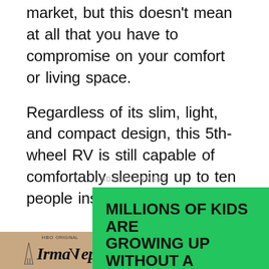market, but this doesn't mean at all that you have to compromise on your comfort or living space.
Regardless of its slim, light, and compact design, this 5th-wheel RV is still capable of comfortably sleeping up to ten people inside it.
ADVERTISEMENT
[Figure (screenshot): Advertisement banner with green background showing text 'MILLIONS OF KIDS ARE GROWING UP WITHOUT A MENTOR' on left, and a photo of two people on right. Close button (X) visible top right.]
[Figure (screenshot): Bottom advertisement bar for HBO Max: left side shows Irma Vep on tan/brown background, right side shows HBOmax logo with SIGN UP button and 'STARTING AT $9**/MONTH' text on dark background.]